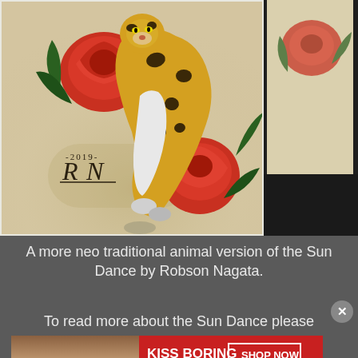[Figure (photo): Neo traditional tattoo artwork by Robson Nagata (2019) showing a spotted leopard/jaguar jumping among red roses with green leaves on a cream/beige background. Artist monogram 'RN' with '2019' is visible in the lower left. A partial second artwork is visible on the right side against a dark background.]
A more neo traditional animal version of the Sun Dance by Robson Nagata.
To read more about the Sun Dance please
[Figure (photo): Advertisement banner: 'KISS BORING LIPS GOODBYE' with a photo of a woman with red lips. SHOP NOW button and Macy's logo with red star on red background.]